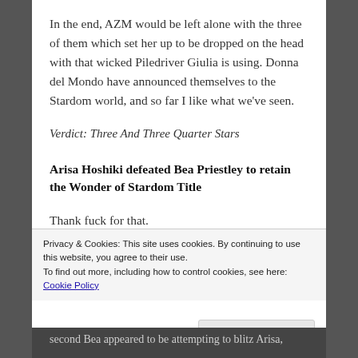In the end, AZM would be left alone with the three of them which set her up to be dropped on the head with that wicked Piledriver Giulia is using. Donna del Mondo have announced themselves to the Stardom world, and so far I like what we've seen.
Verdict: Three And Three Quarter Stars
Arisa Hoshiki defeated Bea Priestley to retain the Wonder of Stardom Title
Thank fuck for that.
Jokes aside, this match was the perfect example of
Privacy & Cookies: This site uses cookies. By continuing to use this website, you agree to their use.
To find out more, including how to control cookies, see here: Cookie Policy
Close and accept
second Bea appeared to be attempting to blitz Arisa,